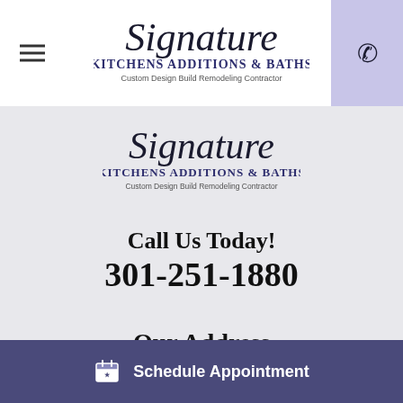[Figure (logo): Signature Kitchens Additions & Baths logo in top navigation bar]
[Figure (logo): Signature Kitchens Additions & Baths logo in main content area]
Call Us Today! 301-251-1880
Our Address
Schedule Appointment